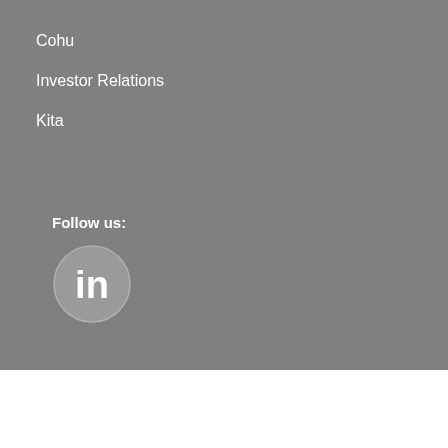Cohu
Investor Relations
Kita
Follow us:
[Figure (logo): LinkedIn circular logo icon in white on a medium grey circle background]
© Everett Charles Technologies 2022
Legal Disclaimer | Privacy Policy